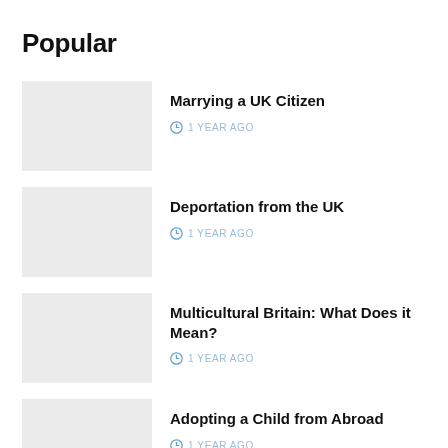Popular
Marrying a UK Citizen
1 YEAR AGO
Deportation from the UK
1 YEAR AGO
Multicultural Britain: What Does it Mean?
1 YEAR AGO
Adopting a Child from Abroad
1 YEAR AGO
Claiming a VAT Refund When Leaving the UK
1 YEAR AGO